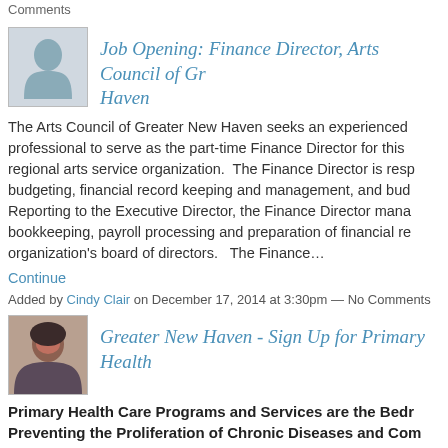Comments
[Figure (illustration): Generic user silhouette avatar icon on gray background]
Job Opening: Finance Director, Arts Council of Greater New Haven
The Arts Council of Greater New Haven seeks an experienced professional to serve as the part-time Finance Director for this regional arts service organization. The Finance Director is responsible for budgeting, financial record keeping and management, and budget. Reporting to the Executive Director, the Finance Director manages bookkeeping, payroll processing and preparation of financial reports to the organization's board of directors. The Finance…
Continue
Added by Cindy Clair on December 17, 2014 at 3:30pm — No Comments
[Figure (photo): Photo of a woman with short dark hair]
Greater New Haven - Sign Up for Primary Health
Primary Health Care Programs and Services are the Bedrock of Preventing the Proliferation of Chronic Diseases and Combating Frequent Illnesses.
Fair Haven Community Health Center, Cornell Scott Hill-Health, Yale NH Primary Care Centers are based in Greater New Haven